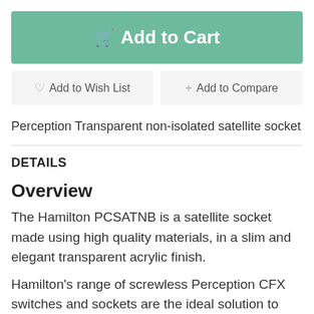[Figure (other): Add to Cart button with shopping cart icon, teal/green background, white text]
[Figure (other): Two secondary action buttons: 'Add to Wish List' with heart icon and 'Add to Compare' with plus icon, both on light grey background]
Perception Transparent non-isolated satellite socket
DETAILS
Overview
The Hamilton PCSATNB is a satellite socket made using high quality materials, in a slim and elegant transparent acrylic finish.
Hamilton's range of screwless Perception CFX switches and sockets are the ideal solution to achieve